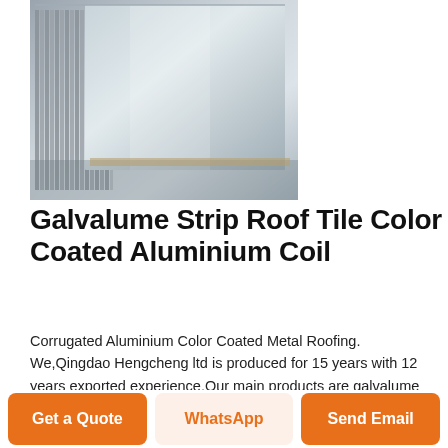[Figure (photo): Stacked aluminum/galvalume metal sheets and coils in a warehouse setting, showing corrugated metallic surfaces with silver-grey coloring]
Galvalume Strip Roof Tile Color Coated Aluminium Coil
Corrugated Aluminium Color Coated Metal Roofing. We,Qingdao Hengcheng ltd is produced for 15 years with 12 years exported experience.Our main products are galvalume coil, and corrugated roofingFor roofing sheet,we have many kinds of machine,can do many types,such as T tile,wave type,glazed tile,ridge tile,drain tile.We can print the
Get a Quote
WhatsApp
Send Email